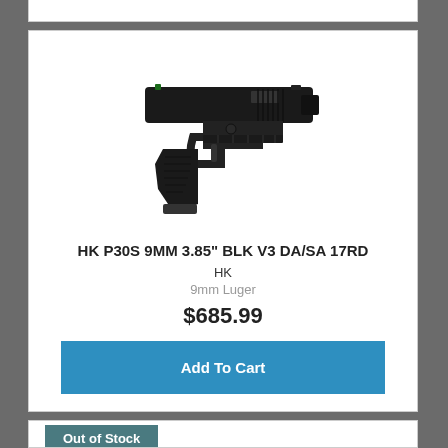[Figure (photo): Product photo of HK P30S 9MM pistol in black, shown in profile view pointing left, with tactical rail and textured grip]
HK P30S 9MM 3.85" BLK V3 DA/SA 17RD
HK
9mm Luger
$685.99
Add To Cart
Out of Stock